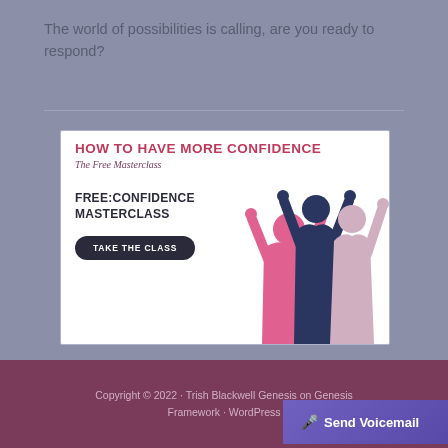The world of possibilities is calling, are you ready to respond?
[Figure (illustration): Advertisement banner for a Free Confidence Masterclass showing 'HOW TO HAVE MORE CONFIDENCE - The Free Masterclass' with a button 'TAKE THE CLASS' and illustrated figures of three people raising their arms in celebration.]
Copyright © 2022 · Trish Blackwell Genesis on Genesis Framework · WordPress